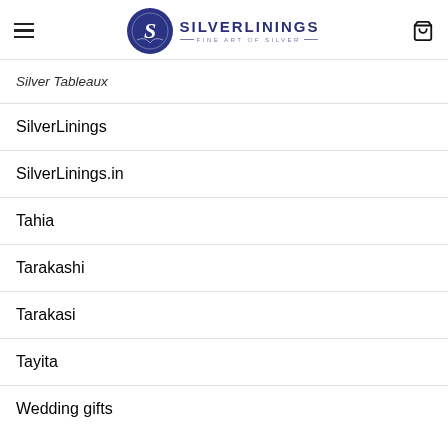[Figure (logo): SilverLinings Fine Art of Silver logo with blue circular emblem and brand name]
Silver Tableaux
SilverLinings
SilverLinings.in
Tahia
Tarakashi
Tarakasi
Tayita
Wedding gifts